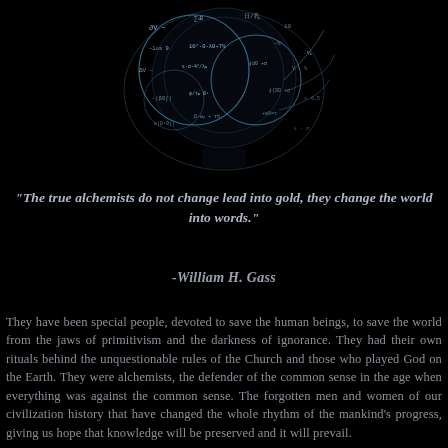[Figure (illustration): Dark image of a human head silhouette filled with glowing mathematical equations, formulas, and geometric circles on a black background, rendered in blue-white light.]
“The true alchemists do not change lead into gold, they change the world into words.”
-William H. Gass
They have been special people, devoted to save the human beings, to save the world from the jaws of primitivism and the darkness of ignorance. They had their own rituals behind the unquestionable rules of the Church and those who played God on the Earth. They were alchemists, the defender of the common sense in the age when everything was against the common sense. The forgotten men and women of our civilization history that have changed the whole rhythm of the mankind’s progress, giving us hope that knowledge will be preserved and it will prevail.